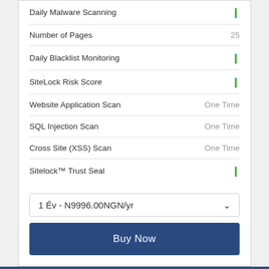Daily Malware Scanning — ✓
Number of Pages — 25
Daily Blacklist Monitoring — ✓
SiteLock Risk Score — ✓
Website Application Scan — One Time
SQL Injection Scan — One Time
Cross Site (XSS) Scan — One Time
Sitelock™ Trust Seal — ✓
1 Év - N9996.00NGN/yr
Buy Now
Fix
N39996.00/yr
Finds and removes malicious code